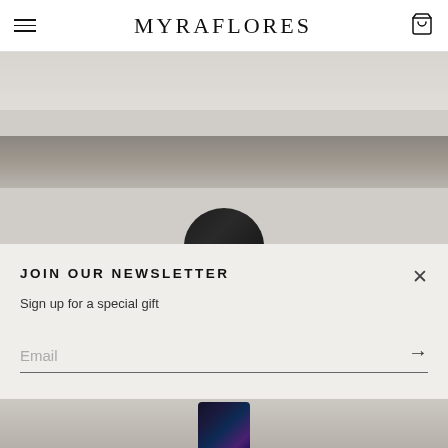MYRAFLORES
[Figure (photo): Partial product photo showing a dark ring on a light gray surface with a horizontal gray stripe]
JOIN OUR NEWSLETTER
Sign up for a special gift
Email
[Figure (photo): Bottom partial product photo showing a dark ring with blue tones on a gray surface]